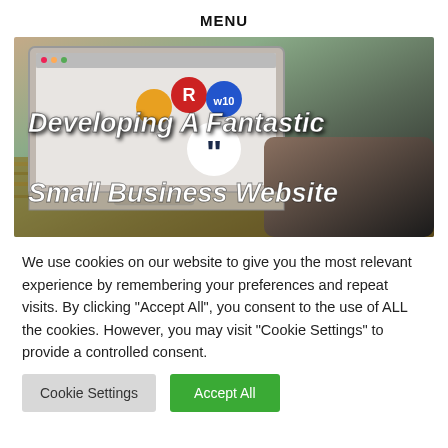MENU
[Figure (photo): A laptop on a wooden table showing a website with colorful icons, overlaid with bold italic white text reading 'Developing A Fantastic Small Business Website' and a quotation mark circle graphic. A person's hands are visible on the keyboard.]
We use cookies on our website to give you the most relevant experience by remembering your preferences and repeat visits. By clicking "Accept All", you consent to the use of ALL the cookies. However, you may visit "Cookie Settings" to provide a controlled consent.
Cookie Settings
Accept All